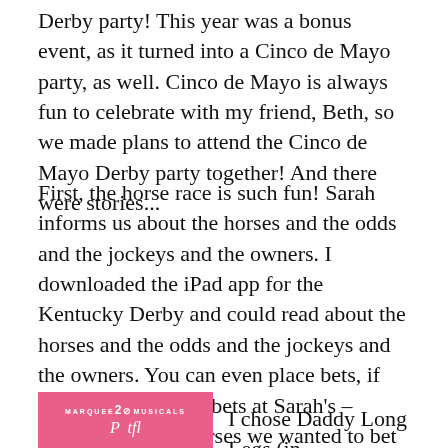Derby party!  This year was a bonus event, as it turned into a Cinco de Mayo party, as well.  Cinco de Mayo is always fun to celebrate with my friend, Beth, so we made plans to attend the Cinco de Mayo Derby party together!  And there were stories...
First, the horse race is such fun!  Sarah informs us about the horses and the odds and the jockeys and the owners. I downloaded the iPad app for the Kentucky Derby and could read about the horses and the odds and the jockeys and the owners.  You can even place bets, if desired!  We placed bets at Sarah's – shouting out the horses we wanted to bet upon – and the two minutes of the race are so exciting!  I chose two horses, because there weren't enough of us to take all the horses.
[Figure (photo): Pink/magenta rectangular image with Marquee 20 Musicals logo and stylized text at the bottom left of the page]
I chose Daddy Long Legs (in